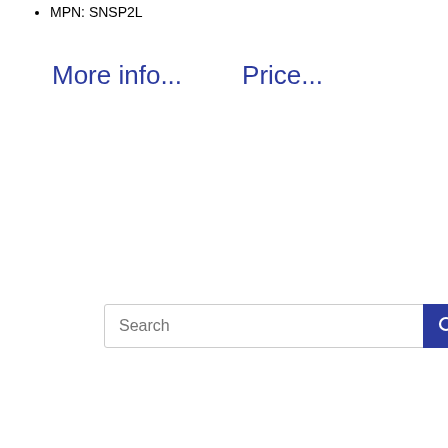MPN: SNSP2L
More info...    Price...
[Figure (screenshot): Search bar with text input and blue search button with magnifying glass icon]
POPULAR    RECENT
Legend Of Zelda The Light Romance Doujinshi Comic Link X...
2019-06-05 08:18:02
Legend Of Zelda The Doujinshi Comic Link Dark Link X...
2020-04-10 04:00:52
Legend Of Zelda Doujinshi Dojinshi Link X Zelda Dark...